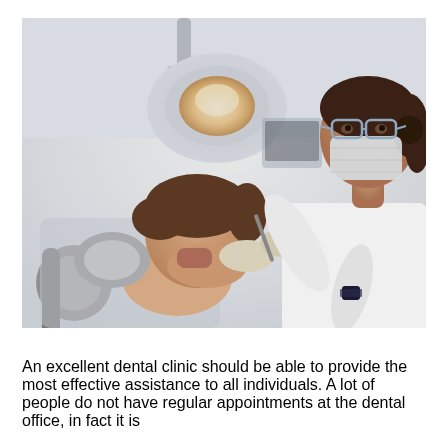[Figure (photo): A female dentist wearing a white coat, protective glasses, and a face mask examines a female patient seated in a dental chair. A large dental lamp is visible overhead. The setting is a modern dental clinic.]
An excellent dental clinic should be able to provide the most effective assistance to all individuals. A lot of people do not have regular appointments at the dental office, in fact it is